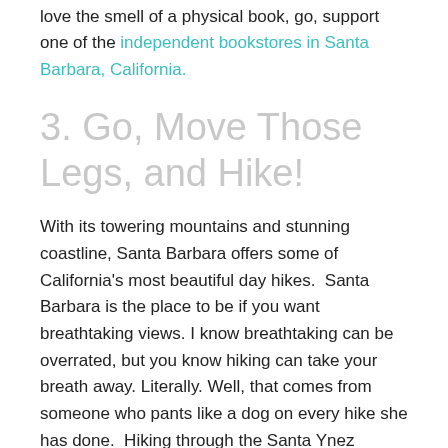love the smell of a physical book, go, support one of the independent bookstores in Santa Barbara, California.
3. Go, Move Those Legs, and Hike!
With its towering mountains and stunning coastline, Santa Barbara offers some of California's most beautiful day hikes.  Santa Barbara is the place to be if you want breathtaking views. I know breathtaking can be overrated, but you know hiking can take your breath away. Literally. Well, that comes from someone who pants like a dog on every hike she has done.  Hiking through the Santa Ynez Mountains and seeing the city, ocean,